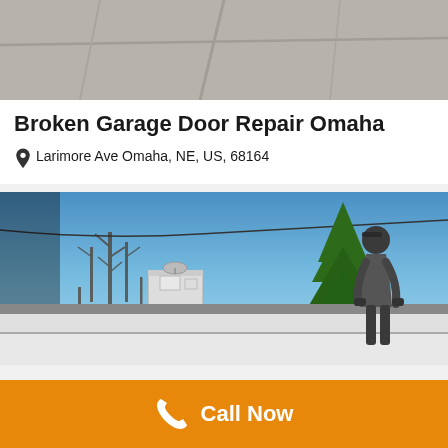[Figure (photo): Top-down view of a concrete driveway with expansion joints]
Broken Garage Door Repair Omaha
Larimore Ave Omaha, NE, US, 68164
[Figure (photo): A technician repairing a garage door, visible from inside the garage looking out at a blue sky and trees]
Call Now